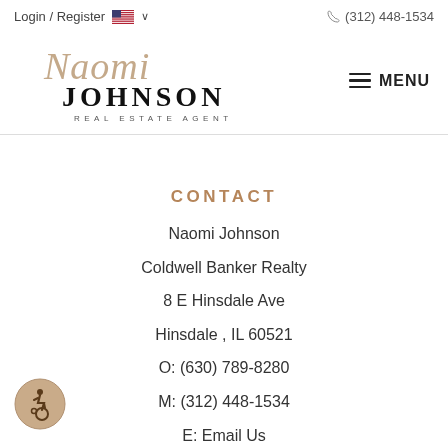Login / Register   🇺🇸 ∨   (312) 448-1534
[Figure (logo): Naomi Johnson Real Estate Agent cursive and serif logo]
MENU
CONTACT
Naomi Johnson
Coldwell Banker Realty
8 E Hinsdale Ave
Hinsdale , IL 60521
O: (630) 789-8280
M: (312) 448-1534
E: Email Us
[Figure (illustration): Accessibility wheelchair icon in circular beige button]